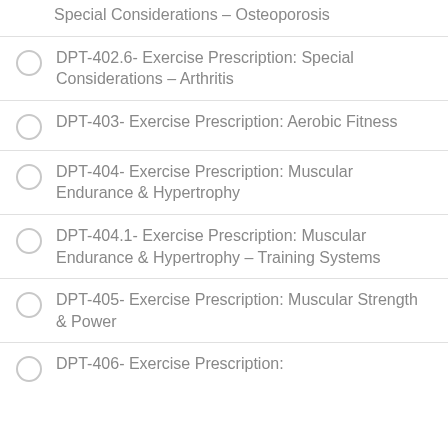Special Considerations – Osteoporosis
DPT-402.6- Exercise Prescription: Special Considerations – Arthritis
DPT-403- Exercise Prescription: Aerobic Fitness
DPT-404- Exercise Prescription: Muscular Endurance & Hypertrophy
DPT-404.1- Exercise Prescription: Muscular Endurance & Hypertrophy – Training Systems
DPT-405- Exercise Prescription: Muscular Strength & Power
DPT-406- Exercise Prescription: